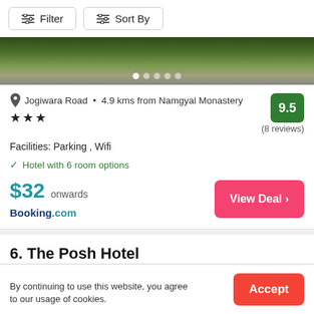[Figure (screenshot): Filter and Sort By buttons at top of hotel listing page]
[Figure (photo): Hotel exterior photo showing grass and road, with pagination dots overlay]
Jogiwara Road • 4.9 kms from Namgyal Monastery
★★★
9.5
(8 reviews)
Facilities: Parking , Wifi
✓ Hotel with 6 room options
$32 onwards
Booking.com
View Deal >
6. The Posh Hotel
By continuing to use this website, you agree to our usage of cookies.
Accept